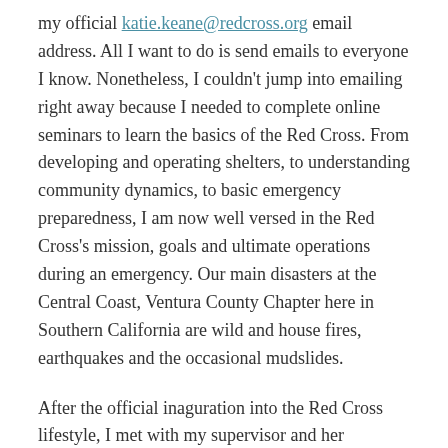my official katie.keane@redcross.org email address. All I want to do is send emails to everyone I know. Nonetheless, I couldn't jump into emailing right away because I needed to complete online seminars to learn the basics of the Red Cross. From developing and operating shelters, to understanding community dynamics, to basic emergency preparedness, I am now well versed in the Red Cross's mission, goals and ultimate operations during an emergency. Our main disasters at the Central Coast, Ventura County Chapter here in Southern California are wild and house fires, earthquakes and the occasional mudslides.
After the official inaguration into the Red Cross lifestyle, I met with my supervisor and her supervisor to discuss some of the projects I'll be working on. My main project this summer will be working to further develop a database of catering companies, food trucks and restaurants that are willing to partner with the Red Cross. In the event of a